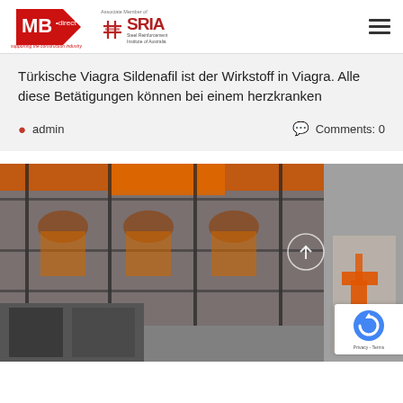[Figure (logo): MB Direct logo with red triangle and 'supporting the construction industry' tagline, alongside Associate Member of SRIA Steel Reinforcement Institute of Australia logo]
Türkische Viagra Sildenafil ist der Wirkstoff in Viagra. Alle diese Betätigungen können bei einem herzkranken
admin   Comments: 0
[Figure (photo): Construction site photo showing scaffolding on a historic building facade with orange tarpaulins, an orange crane/lift visible on the right side, black and white imagery on lower left]